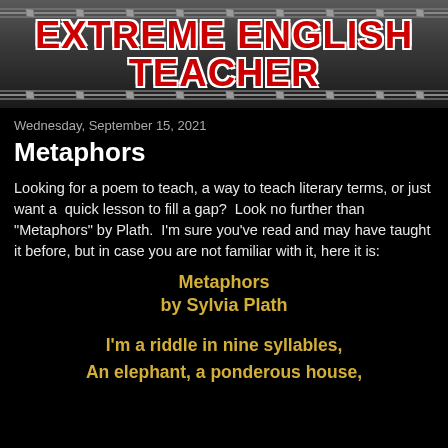[Figure (illustration): Header banner with barbed wire design and red text reading EXTREME ENGLISH TEACHER on dark grey background]
Wednesday, September 15, 2021
Metaphors
Looking for a poem to teach, a way to teach literary terms, or just want a  quick lesson to fill a gap?  Look no further than "Metaphors" by Plath.  I'm sure you've read and may have taught it before, but in case you are not familiar with it, here it is:
Metaphors
by Sylvia Plath
I'm a riddle in nine syllables,
An elephant, a ponderous house,